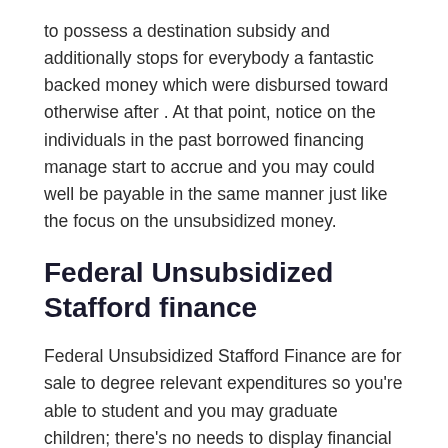to possess a destination subsidy and additionally stops for everybody a fantastic backed money which were disbursed toward otherwise after . At that point, notice on the individuals in the past borrowed financing manage start to accrue and you may could well be payable in the same manner just like the focus on the unsubsidized money.
Federal Unsubsidized Stafford finance
Federal Unsubsidized Stafford Finance are for sale to degree relevant expenditures so you're able to student and you may graduate children; there's no needs to display financial you need. Brand new Federal Unsubsidized Stafford Amount borrowed will depend on the quantity the fresh college student is use according to cost of attendance and other educational funding issued